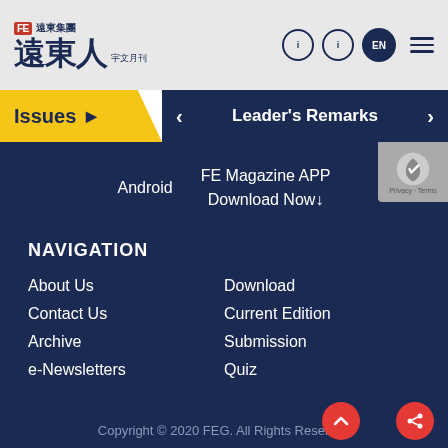FE 遠東集團 遠東人 EN
Issues ▶  <  Leader's Remarks  >
Android   FE Magazine APP Download Now
NAVIGATION
About Us
Contact Us
Archive
e-Newsletters
Download
Current Edition
Submission
Quiz
Copyright © 2020 FEG. All Rights Reserved